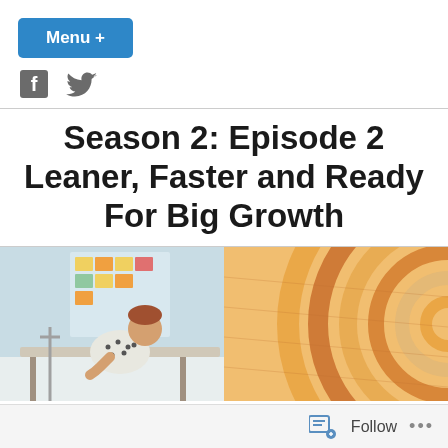Menu +
[Figure (illustration): Social media icons: Facebook and Twitter]
Season 2: Episode 2 Leaner, Faster and Ready For Big Growth
[Figure (photo): Split hero image: left side shows a person leaning over a desk in an office with sticky notes on the wall; right side shows an abstract circular concentric pattern in orange/brown tones]
Follow ...